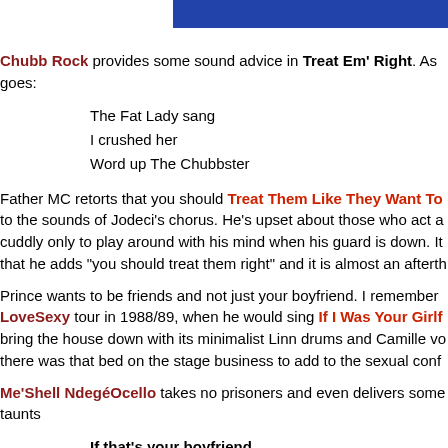[Figure (photo): Blue banner/header image at top of page]
Chubb Rock provides some sound advice in Treat Em' Right. As goes:
The Fat Lady sang
I crushed her
Word up The Chubbster
Father MC retorts that you should Treat Them Like They Want To to the sounds of Jodeci's chorus. He's upset about those who act a cuddly only to play around with his mind when his guard is down. It that he adds "you should treat them right" and it is almost an afterth
Prince wants to be friends and not just your boyfriend. I remember LoveSexy tour in 1988/89, when he would sing If I Was Your Girlf bring the house down with its minimalist Linn drums and Camille vo there was that bed on the stage business to add to the sexual conf
Me'Shell NdegéOcello takes no prisoners and even delivers some taunts
If that's your boyfriend
If that's your boyfriend